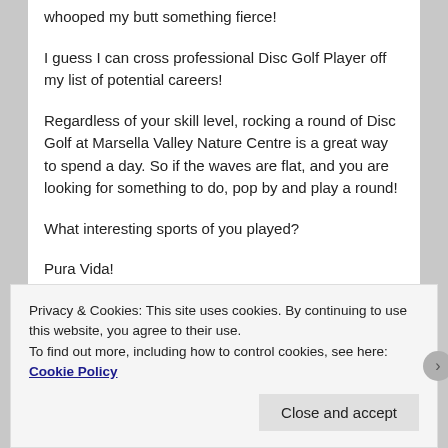whooped my butt something fierce!
I guess I can cross professional Disc Golf Player off my list of potential careers!
Regardless of your skill level, rocking a round of Disc Golf at Marsella Valley Nature Centre is a great way to spend a day. So if the waves are flat, and you are looking for something to do, pop by and play a round!
What interesting sports of you played?
Pura Vida!
Privacy & Cookies: This site uses cookies. By continuing to use this website, you agree to their use.
To find out more, including how to control cookies, see here: Cookie Policy
Close and accept